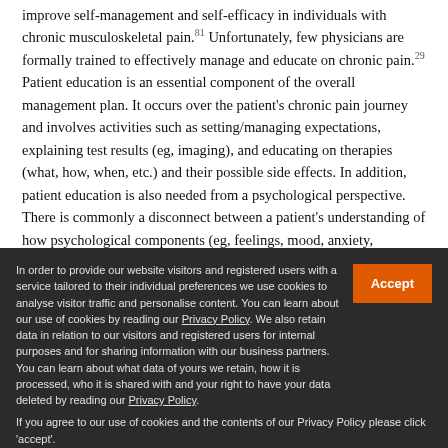improve self-management and self-efficacy in individuals with chronic musculoskeletal pain.[81] Unfortunately, few physicians are formally trained to effectively manage and educate on chronic pain.[29] Patient education is an essential component of the overall management plan. It occurs over the patient's chronic pain journey and involves activities such as setting/managing expectations, explaining test results (eg, imaging), and educating on therapies (what, how, when, etc.) and their possible side effects. In addition, patient education is also needed from a psychological perspective. There is commonly a disconnect between a patient's understanding of how psychological components (eg, feelings, mood, anxiety,
In order to provide our website visitors and registered users with a service tailored to their individual preferences we use cookies to analyse visitor traffic and personalise content. You can learn about our use of cookies by reading our Privacy Policy. We also retain data in relation to our visitors and registered users for internal purposes and for sharing information with our business partners. You can learn about what data of yours we retain, how it is processed, who it is shared with and your right to have your data deleted by reading our Privacy Policy. If you agree to our use of cookies and the contents of our Privacy Policy please click 'accept'.